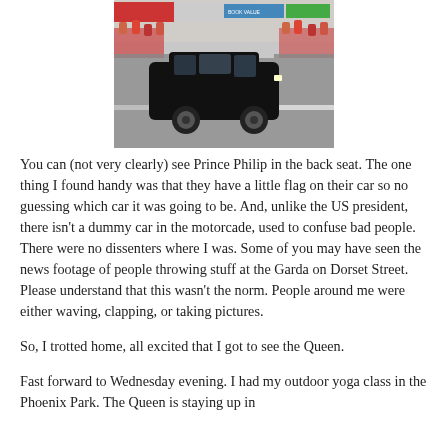[Figure (photo): A black Range Rover SUV driving on a city street with crowds of people behind barriers on both sides. Storefronts visible in the background.]
You can (not very clearly) see Prince Philip in the back seat. The one thing I found handy was that they have a little flag on their car so no guessing which car it was going to be. And, unlike the US president, there isn't a dummy car in the motorcade, used to confuse bad people. There were no dissenters where I was. Some of you may have seen the news footage of people throwing stuff at the Garda on Dorset Street. Please understand that this wasn't the norm. People around me were either waving, clapping, or taking pictures.
So, I trotted home, all excited that I got to see the Queen.
Fast forward to Wednesday evening. I had my outdoor yoga class in the Phoenix Park. The Queen is staying up in